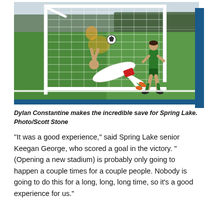[Figure (photo): Action photo of a soccer goalkeeper making a dramatic diving save near the goal post on a green field. One player in white is diving horizontally, another player in green is nearby. Trees and a fence are visible in the background.]
Dylan Constantine makes the incredible save for Spring Lake. Photo/Scott Stone
“It was a good experience,” said Spring Lake senior Keegan George, who scored a goal in the victory. “(Opening a new stadium) is probably only going to happen a couple times for a couple people. Nobody is going to do this for a long, long, long time, so it’s a good experience for us.”